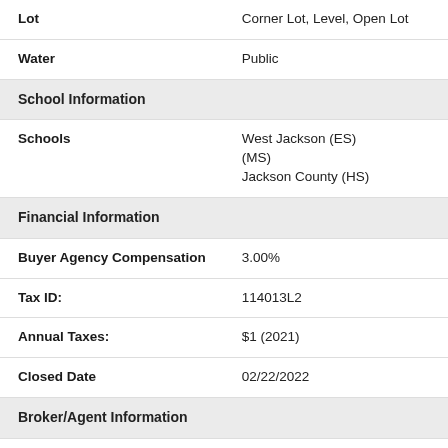| Lot | Corner Lot, Level, Open Lot |
| Water | Public |
| School Information |  |
| Schools | West Jackson (ES)
(MS)
Jackson County (HS) |
| Financial Information |  |
| Buyer Agency Compensation | 3.00% |
| Tax ID: | 114013L2 |
| Annual Taxes: | $1 (2021) |
| Closed Date | 02/22/2022 |
| Broker/Agent Information |  |